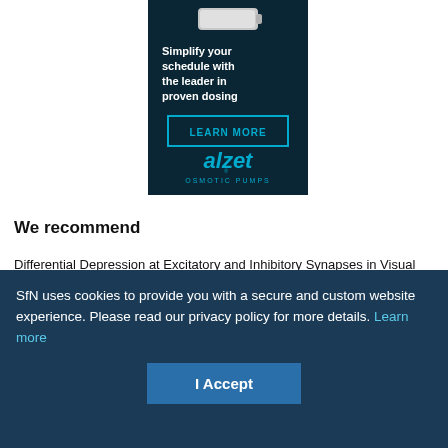[Figure (advertisement): Alzet osmotic pumps advertisement with dark teal background. Shows a medical device at top, text 'Simplify your schedule with the leader in proven dosing', a 'LEARN MORE' button with teal border, and the alzet OSMOTIC PUMPS logo at bottom.]
We recommend
Differential Depression at Excitatory and Inhibitory Synapses in Visual Cortex
Juan A. Varela et al., JNeurosci, 1999
SfN uses cookies to provide you with a secure and custom website experience. Please read our privacy policy for more details. Learn more
I Accept